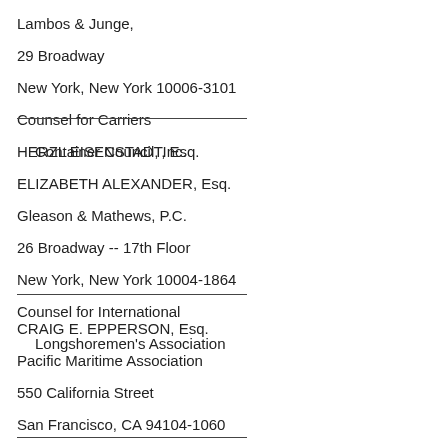Lambos & Junge,
29 Broadway
New York, New York 10006-3101
Counsel for Carriers
  Container Council, Inc.
HERZL EISENSTADT, Esq.
ELIZABETH ALEXANDER, Esq.
Gleason & Mathews, P.C.
26 Broadway -- 17th Floor
New York, New York 10004-1864
Counsel for International
  Longshoremen's Association
CRAIG E. EPPERSON, Esq.
Pacific Maritime Association
550 California Street
San Francisco, CA 94104-1060
General Counsel & Secretary,
  Pacific Maritime Association